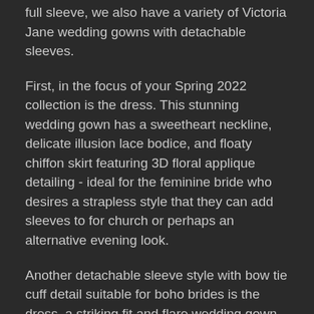full sleeve, we also have a variety of Victoria Jane wedding gowns with detachable sleeves.
First, in the focus of your Spring 2022 collection is the dress. This stunning wedding gown has a sweetheart neckline, delicate illusion lace bodice, and floaty chiffon skirt featuring 3D floral applique detailing - ideal for the feminine bride who desires a strapless style that they can add sleeves to for church or perhaps an alternative evening look.
Another detachable sleeve style with bow tie cuff detail suitable for boho brides is the dress, a striking fit and flare wedding gown with an illusion lace bodice, sweetheart neckline, lace-up back detail, and puddle train. A daring thigh leg split completes the appearance, adding modern touches.
Our final interchangeable sleeve dress is from your Ronald Joyce Spring 2022 collection. Suited to probably the most feminine bride, it is a stunning sequin tulle and floral lace applique wedding gown complete with a sweetheart neckline and delightful li...